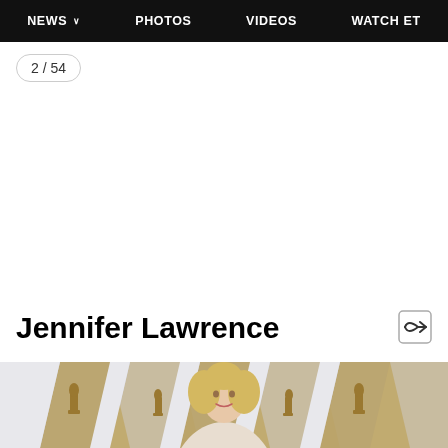NEWS  PHOTOS  VIDEOS  WATCH ET
2 / 54
Jennifer Lawrence
[Figure (photo): Jennifer Lawrence at the Oscars red carpet, standing in front of the iconic Oscar statuette backdrop decorations, with blonde curly hair]